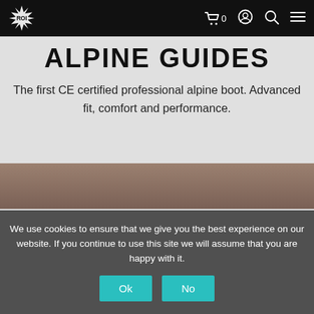ROI logo, cart icon, account icon, search icon, menu icon
ALPINE GUIDES
The first CE certified professional alpine boot. Advanced fit, comfort and performance.
LEARN MORE
We use cookies to ensure that we give you the best experience on our website. If you continue to use this site we will assume that you are happy with it.
Ok
No